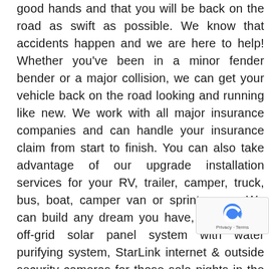good hands and that you will be back on the road as swift as possible. We know that accidents happen and we are here to help! Whether you've been in a minor fender bender or a major collision, we can get your vehicle back on the road looking and running like new. We work with all major insurance companies and can handle your insurance claim from start to finish. You can also take advantage of our upgrade installation services for your RV, trailer, camper, truck, bus, boat, camper van or sprinter van. We can build any dream you have, from a fully off-grid solar panel system with water purifying system, StarLink internet & outside security cameras for those solo nights in the wild, or we can installing something as simple as a backup camera to help you with maneuvering your vehicle safely when trave are the one-stop RV Repair Shop in Southern Califo will complete your RV repair all under one roof! We can help